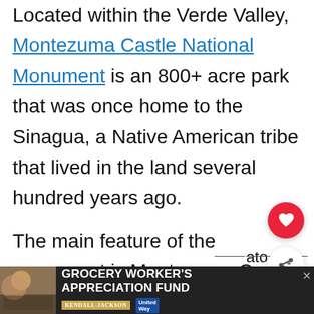Located within the Verde Valley, Montezuma Castle National Monument is an 800+ acre park that was once home to the Sinagua, a Native American tribe that lived in the land several hundred years ago.

The main feature of the monument is Montezuma Castle. It's a prehistoric apartment complex including a five-story,
[Figure (other): Red heart favorite button and share button floating on right side]
[Figure (other): What's Next panel showing thumbnail of national park landscape with text 'The Best National Par...']
[Figure (other): Advertisement banner: Grocery Worker's Appreciation Fund with Kendall Jackson and United Way logos]